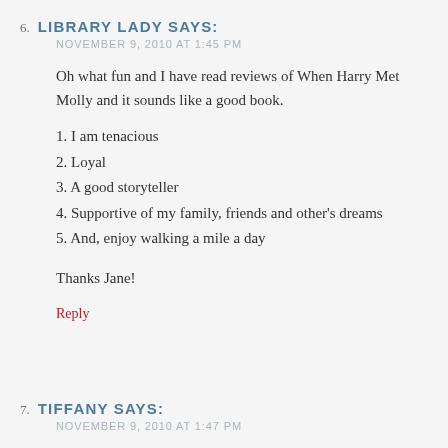6. LIBRARY LADY SAYS:
NOVEMBER 9, 2010 AT 1:45 PM
Oh what fun and I have read reviews of When Harry Met Molly and it sounds like a good book.
1. I am tenacious
2. Loyal
3. A good storyteller
4. Supportive of my family, friends and other's dreams
5. And, enjoy walking a mile a day
Thanks Jane!
Reply
7. TIFFANY SAYS:
NOVEMBER 9, 2010 AT 1:47 PM
My five are: